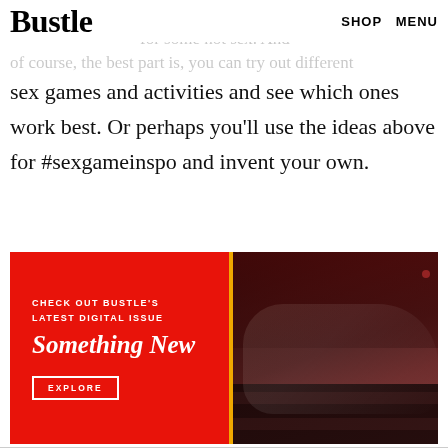Bustle    SHOP    MENU
grow the passion in your relationship, of course. The best part is, you can try out different sex games and activities and see which ones work best. Or perhaps you'll use the ideas above for #sexgameinspo and invent your own.
[Figure (photo): Bustle digital magazine advertisement banner with red left panel reading 'CHECK OUT BUSTLE'S LATEST DIGITAL ISSUE / Something New / EXPLORE' and right panel showing a woman lounging in theater seats in dark moody lighting.]